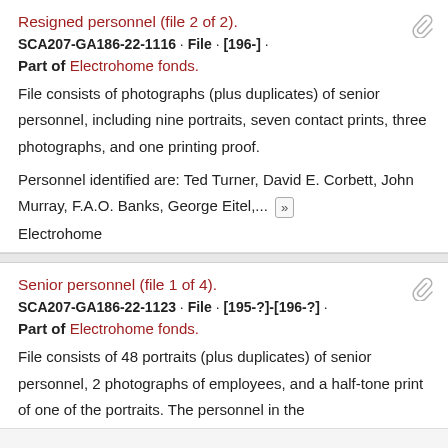Resigned personnel (file 2 of 2).
SCA207-GA186-22-1116 · File · [196-] ·
Part of Electrohome fonds.
File consists of photographs (plus duplicates) of senior personnel, including nine portraits, seven contact prints, three photographs, and one printing proof.
Personnel identified are: Ted Turner, David E. Corbett, John Murray, F.A.O. Banks, George Eitel,... »
Electrohome
Senior personnel (file 1 of 4).
SCA207-GA186-22-1123 · File · [195-?]-[196-?] ·
Part of Electrohome fonds.
File consists of 48 portraits (plus duplicates) of senior personnel, 2 photographs of employees, and a half-tone print of one of the portraits. The personnel in the